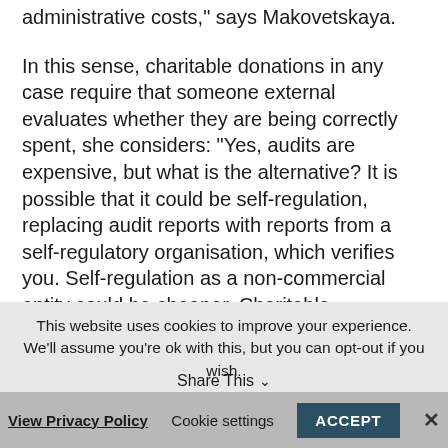administrative costs," says Makovetskaya.
In this sense, charitable donations in any case require that someone external evaluates whether they are being correctly spent, she considers: "Yes, audits are expensive, but what is the alternative? It is possible that it could be self-regulation, replacing audit reports with reports from a self-regulatory organisation, which verifies you. Self-regulation as a non-commercial entity could be cheaper. Charitable foundations in any case need some kind of certification. And if this is not an audit, then let them come together as a
This website uses cookies to improve your experience. We'll assume you're ok with this, but you can opt-out if you wish.
View Privacy Policy   Cookie settings   ACCEPT   Share This   ✕